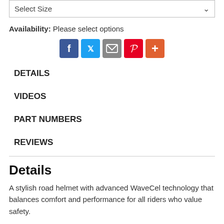Select Size
Availability: Please select options
[Figure (infographic): Social sharing icons: Facebook (blue), Twitter (blue), Email (grey), Pinterest (red), More/Plus (orange-red)]
DETAILS
VIDEOS
PART NUMBERS
REVIEWS
Details
A stylish road helmet with advanced WaveCel technology that balances comfort and performance for all riders who value safety.